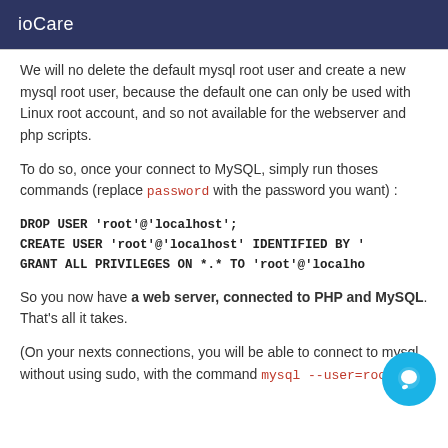ioCare
We will no delete the default mysql root user and create a new mysql root user, because the default one can only be used with Linux root account, and so not available for the webserver and php scripts.
To do so, once your connect to MySQL, simply run thoses commands (replace password with the password you want) :
DROP USER 'root'@'localhost';
CREATE USER 'root'@'localhost' IDENTIFIED BY '
GRANT ALL PRIVILEGES ON *.* TO 'root'@'localho
So you now have a web server, connected to PHP and MySQL. That's all it takes.
(On your nexts connections, you will be able to connect to mysql without using sudo, with the command mysql --user=root --